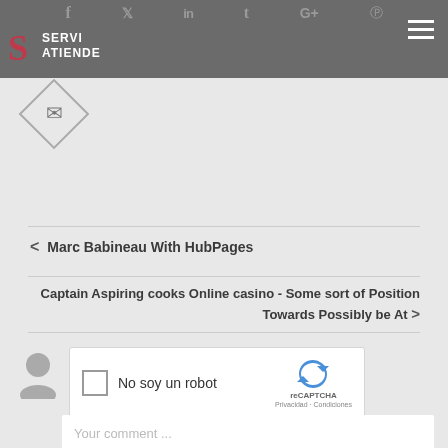ServiAtiende — navigation header with social icons and hamburger menu
[Figure (logo): Diamond shape with envelope/mail icon]
< Marc Babineau With HubPages
Captain Aspiring cooks Online casino - Some sort of Position Towards Possibly be At >
[Figure (screenshot): reCAPTCHA widget: checkbox, 'No soy un robot' label, reCAPTCHA logo, Privacidad · Condiciones links]
Your comment ...